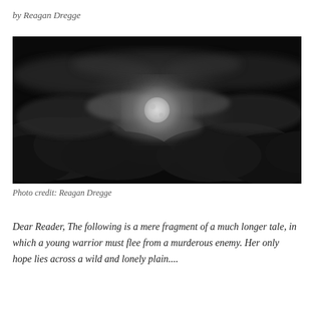by Reagan Dregge
[Figure (photo): A dark nighttime photograph of the moon partially obscured by clouds, with a glowing halo of light surrounding it against a very dark sky.]
Photo credit: Reagan Dregge
Dear Reader, The following is a mere fragment of a much longer tale, in which a young warrior must flee from a murderous enemy. Her only hope lies across a wild and lonely plain....